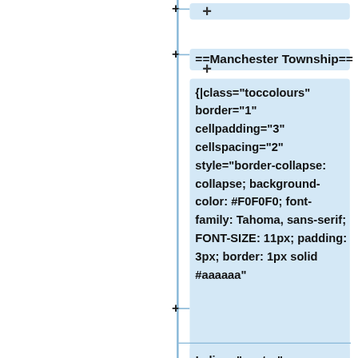[Figure (flowchart): A vertical tree/outline diagram with a blue vertical line and plus-sign expand icons. Nodes shown are: (root plus at top), '==Manchester Township==', a large code block with wiki table markup '{|class="toccolours" border="1" cellpadding="3" cellspacing="2" style="border-collapse: collapse; background-color: #F0F0F0; font-family: Tahoma, sans-serif; FONT-SIZE: 11px; padding: 3px; border: 1px solid #aaaaaa"', a node with '! align="center" style="color: #FFFFFF; background: #2C5184; font-size: 12px"|Radio ID', and a partial node '! align="center"']